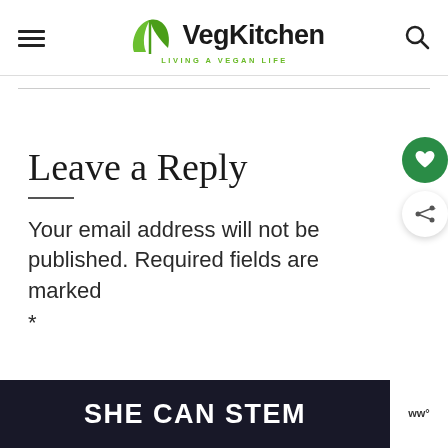VegKitchen — LIVING A VEGAN LIFE
Leave a Reply
Your email address will not be published. Required fields are marked *
[Figure (screenshot): SHE CAN STEM advertisement banner — dark navy background with bold white text 'SHE CAN STEM' and a small white logo on the right]